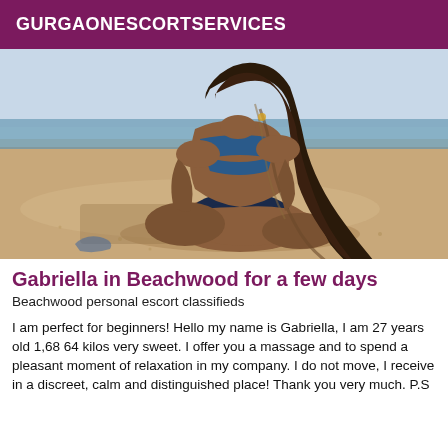GURGAONESCORTSERVICES
[Figure (photo): A woman in a blue bikini sitting on a sandy beach, viewed from behind, with long dark hair cascading down her back.]
Gabriella in Beachwood for a few days
Beachwood personal escort classifieds
I am perfect for beginners! Hello my name is Gabriella, I am 27 years old 1,68 64 kilos very sweet. I offer you a massage and to spend a pleasant moment of relaxation in my company. I do not move, I receive in a discreet, calm and distinguished place! Thank you very much. P.S